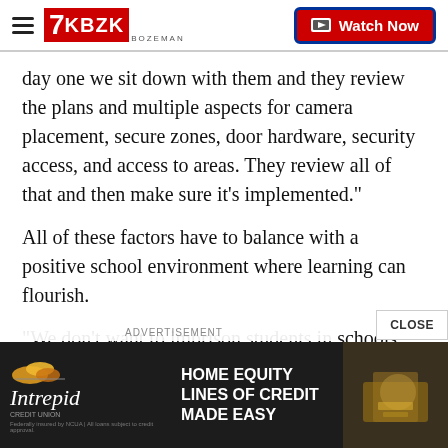KBZK BOZEMAN | Watch Now
day one we sit down with them and they review the plans and multiple aspects for camera placement, secure zones, door hardware, security access, and access to areas. They review all of that and then make sure it’s implemented."
All of these factors have to balance with a positive school environment where learning can flourish.
"We don’t want to imprison students in schools," Sanches said. "We want to make them feel at home and at ease and comfortable. But we also want to make sure they’re protected
[Figure (screenshot): Advertisement banner for Intrepid Credit Union: HOME EQUITY LINES OF CREDIT MADE EASY, with logo and image of person doing DIY work]